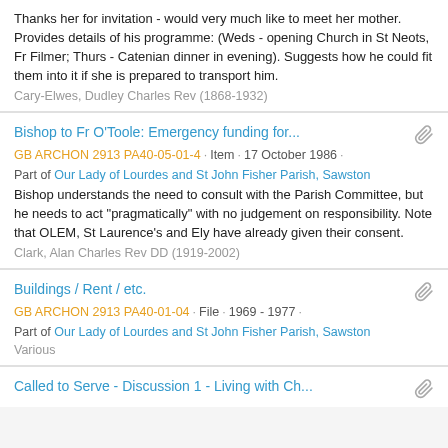Thanks her for invitation - would very much like to meet her mother. Provides details of his programme: (Weds - opening Church in St Neots, Fr Filmer; Thurs - Catenian dinner in evening). Suggests how he could fit them into it if she is prepared to transport him.
Cary-Elwes, Dudley Charles Rev (1868-1932)
Bishop to Fr O'Toole: Emergency funding for...
GB ARCHON 2913 PA40-05-01-4 · Item · 17 October 1986 · Part of Our Lady of Lourdes and St John Fisher Parish, Sawston
Bishop understands the need to consult with the Parish Committee, but he needs to act "pragmatically" with no judgement on responsibility. Note that OLEM, St Laurence's and Ely have already given their consent.
Clark, Alan Charles Rev DD (1919-2002)
Buildings / Rent / etc.
GB ARCHON 2913 PA40-01-04 · File · 1969 - 1977 · Part of Our Lady of Lourdes and St John Fisher Parish, Sawston
Various
Called to Serve - Discussion 1 - Living with Ch...